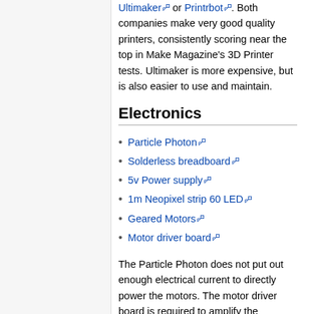Ultimaker or Printrbot. Both companies make very good quality printers, consistently scoring near the top in Make Magazine's 3D Printer tests. Ultimaker is more expensive, but is also easier to use and maintain.
Electronics
Particle Photon
Solderless breadboard
5v Power supply
1m Neopixel strip 60 LED
Geared Motors
Motor driver board
The Particle Photon does not put out enough electrical current to directly power the motors. The motor driver board is required to amplify the Particle's output and power the motor(s).